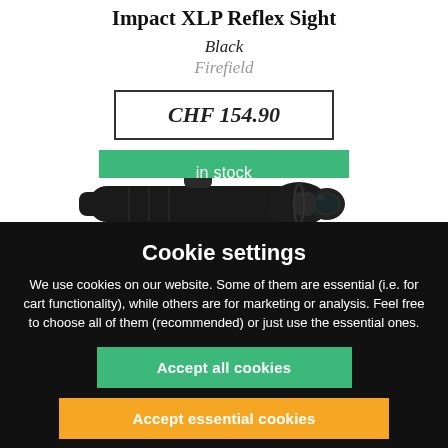Impact XLP Reflex Sight
Black
Firefield
CHF 154.90
in stock
[Figure (photo): Black tactical reflex/red dot rifle scope sight with cylindrical body, adjustment turrets, and mounting rail]
Cookie settings
We use cookies on our website. Some of them are essential (i.e. for cart functionality), while others are for marketing or analysis. Feel free to choose all of them (recommended) or just use the essential ones.
Accept all cookies
Accept essential cookies
Refuse cookies